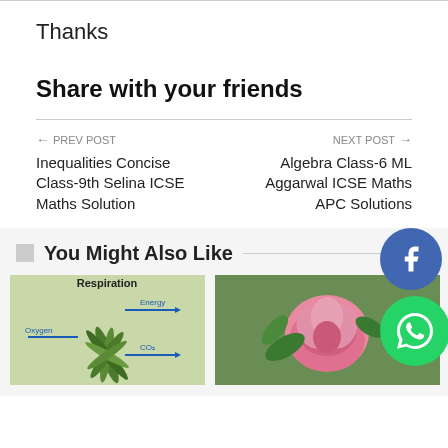Thanks
Share with your friends
← PREV POST
Inequalities Concise Class-9th Selina ICSE Maths Solution
NEXT POST →
Algebra Class-6 ML Aggarwal ICSE Maths APC Solutions
You Might Also Like
[Figure (photo): Plant respiration diagram showing Oxygen input, Energy and CO2 arrows]
[Figure (photo): Pink rose flower photo]